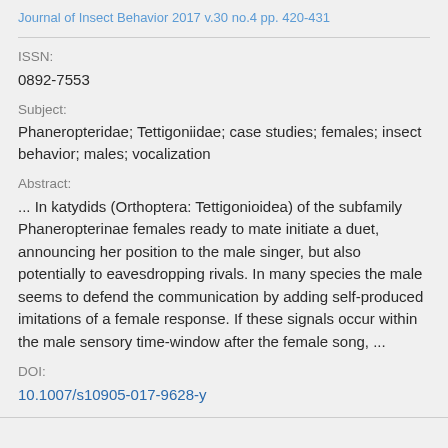Journal of Insect Behavior 2017 v.30 no.4 pp. 420-431
ISSN:
0892-7553
Subject:
Phaneropteridae; Tettigoniidae; case studies; females; insect behavior; males; vocalization
Abstract:
... In katydids (Orthoptera: Tettigonioidea) of the subfamily Phaneropterinae females ready to mate initiate a duet, announcing her position to the male singer, but also potentially to eavesdropping rivals. In many species the male seems to defend the communication by adding self-produced imitations of a female response. If these signals occur within the male sensory time-window after the female song, ...
DOI:
10.1007/s10905-017-9628-y